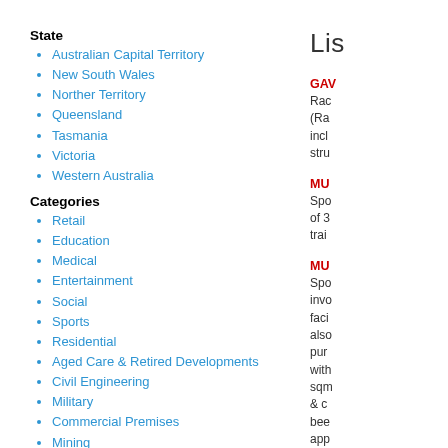State
Australian Capital Territory
New South Wales
Norther Territory
Queensland
Tasmania
Victoria
Western Australia
Categories
Retail
Education
Medical
Entertainment
Social
Sports
Residential
Aged Care & Retired Developments
Civil Engineering
Military
Commercial Premises
Mining
Mining - Support Facilities
Non-Construction Items
Maintenance Contracts
Mining - Primary And Secondary Processing
Oil & Gas
Mining - Civil Services
Mining - Infrastructure
Mining - Earthworks/Civil Engineering
Mining - Subcontracts
Lis
GAV
Rac (Ra incl stru
MU
Spo of 3 trai
MU
Spo invo faci also pur with sqm & c bee app race